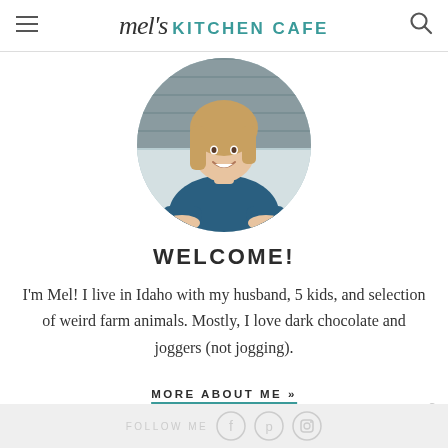mel's KITCHEN CAFE
[Figure (photo): Circular profile photo of a smiling woman with blonde hair wearing a teal/dark blue top, seated in front of a wood-paneled background.]
WELCOME!
I'm Mel! I live in Idaho with my husband, 5 kids, and selection of weird farm animals. Mostly, I love dark chocolate and joggers (not jogging).
MORE ABOUT ME »
FOLLOW ME